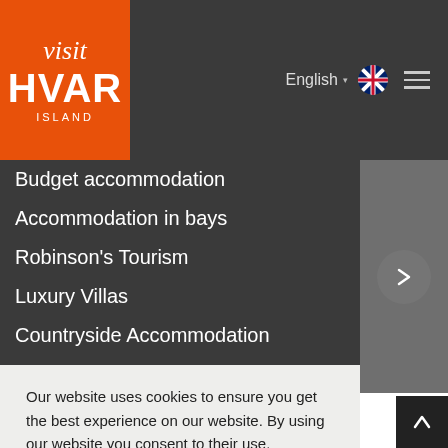[Figure (logo): Visit Hvar Island logo - orange background with italic 'visit' text and bold 'HVAR ISLAND' text in white]
English  [flag icon]  [hamburger menu]
Budget accommodation
Accommodation in bays
Robinson's Tourism
Luxury Villas
Countryside Accommodation
Private Accommodation
Accommodation in Hotels
Accommodation in Hostels
Our website uses cookies to ensure you get the best experience on our website. By using our website you consent to their use.
Learn More
Got it!
Zavala Apartments